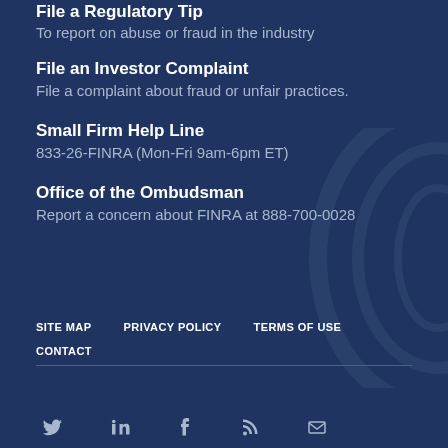File a Regulatory Tip
To report on abuse or fraud in the industry
File an Investor Complaint
File a complaint about fraud or unfair practices.
Small Firm Help Line
833-26-FINRA (Mon-Fri 9am-6pm ET)
Office of the Ombudsman
Report a concern about FINRA at 888-700-0028
SITE MAP   PRIVACY POLICY   TERMS OF USE   CONTACT
[Figure (illustration): Social media icons: Twitter, LinkedIn, Facebook, RSS feed, Email]